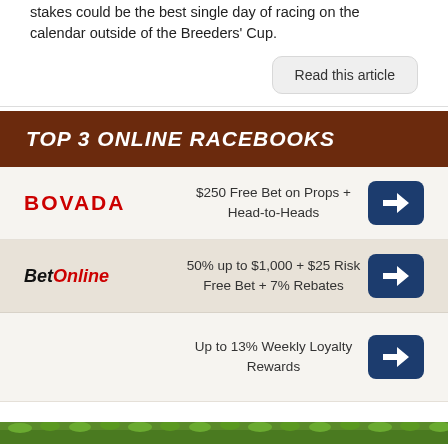stakes could be the best single day of racing on the calendar outside of the Breeders' Cup.
Read this article
TOP 3 ONLINE RACEBOOKS
BOVADA — $250 Free Bet on Props + Head-to-Heads
BetOnline — 50% up to $1,000 + $25 Risk Free Bet + 7% Rebates
Up to 13% Weekly Loyalty Rewards